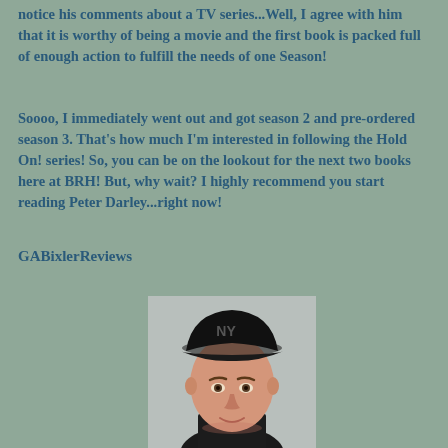notice his comments about a TV series...Well, I agree with him that it is worthy of being a movie and the first book is packed full of enough action to fulfill the needs of one Season!
Soooo, I immediately went out and got season 2 and pre-ordered season 3. That's how much I'm interested in following the Hold On! series! So, you can be on the lookout for the next two books here at BRH! But, why wait? I highly recommend you start reading Peter Darley...right now!
GABixlerReviews
[Figure (photo): Headshot photo of a man wearing a black NY Yankees baseball cap and black shirt, against a light gray background]